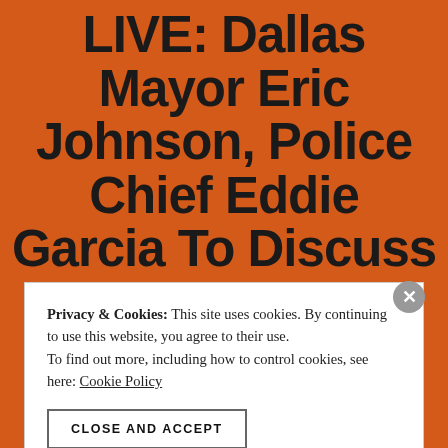LIVE: Dallas Mayor Eric Johnson, Police Chief Eddie Garcia To Discuss Plan To Reduce Domestic Violence | Foxnewsdal At N...
Privacy & Cookies: This site uses cookies. By continuing to use this website, you agree to their use.
To find out more, including how to control cookies, see here: Cookie Policy
CLOSE AND ACCEPT